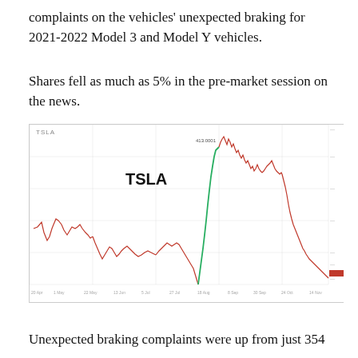complaints on the vehicles' unexpected braking for 2021-2022 Model 3 and Model Y vehicles.
Shares fell as much as 5% in the pre-market session on the news.
[Figure (continuous-plot): TSLA stock price line chart showing historical price movement. The chart shows a large rally to a peak (labeled near top center) followed by a sharp decline. Bold 'TSLA' label appears in the upper left area of the chart. The line is predominantly red/dark with green segments during the large uptrend. A red marker appears on the right y-axis indicating current price level.]
Unexpected braking complaints were up from just 354